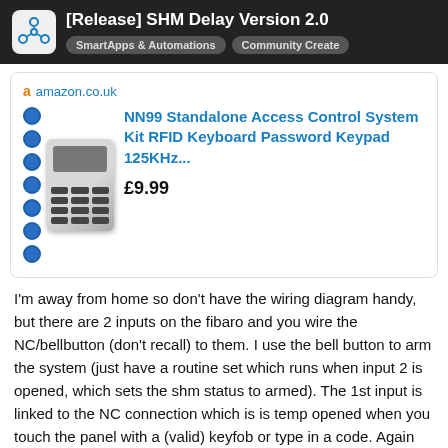[Release] SHM Delay Version 2.0 | SmartApps & Automations | Community Created
[Figure (screenshot): Amazon.co.uk product listing for NN99 Standalone Access Control System Kit RFID Keyboard Password Keypad 125KHz... priced at £9.99]
I'm away from home so don't have the wiring diagram handy, but there are 2 inputs on the fibaro and you wire the NC/bellbutton (don't recall) to them. I use the bell button to arm the system (just have a routine set which runs when input 2 is opened, which sets the shm status to armed). The 1st input is linked to the NC connection which is is temp opened when you touch the panel with a (valid) keyfob or type in a code. Again this is linked to a routine which just changes shm to disarmed when input 1 is opened.
1165 / 1543